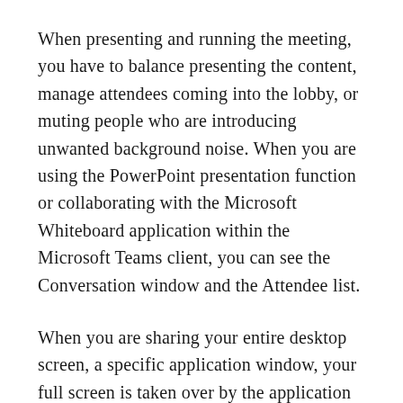When presenting and running the meeting, you have to balance presenting the content, manage attendees coming into the lobby, or muting people who are introducing unwanted background noise. When you are using the PowerPoint presentation function or collaborating with the Microsoft Whiteboard application within the Microsoft Teams client, you can see the Conversation window and the Attendee list.
When you are sharing your entire desktop screen, a specific application window, your full screen is taken over by the application you are sharing or your entire desktop. This makes